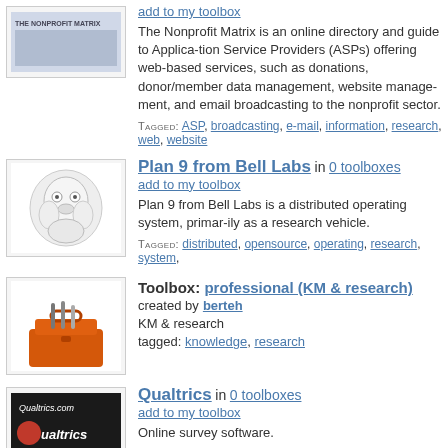[Figure (logo): Nonprofit Matrix logo thumbnail]
add to my toolbox
The Nonprofit Matrix is an online directory and guide to Application Service Providers (ASPs) offering web-based services, such as donations, donor/member data management, website management, and email broadcasting to the nonprofit sector.
TAGGED: ASP, broadcasting, e-mail, information, research, web, website
[Figure (logo): Plan 9 from Bell Labs logo - cartoon rabbit character]
Plan 9 from Bell Labs in 0 toolboxes
add to my toolbox
Plan 9 from Bell Labs is a distributed operating system, primarily as a research vehicle.
TAGGED: distributed, opensource, operating, research, system,
[Figure (logo): Toolbox icon - orange toolbox with tools]
Toolbox: professional (KM & research) created by berteh
KM & research
tagged: knowledge, research
[Figure (logo): Qualtrics logo thumbnail]
Qualtrics in 0 toolboxes
add to my toolbox
Online survey software.
TAGGED: feedback, hosted, marketing, research, survey